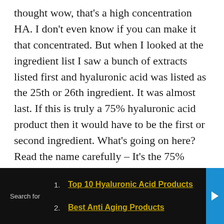thought wow, that's a high concentration HA. I don't even know if you can make it that concentrated. But when I looked at the ingredient list I saw a bunch of extracts listed first and hyaluronic acid was listed as the 25th or 26th ingredient. It was almost last. If this is truly a 75% hyaluronic acid product then it would have to be the first or second ingredient. What's going on here? Read the name carefully – It's the 75% hyaluronic acid COMPLEX. So what they've done is taken hyaluronic acid, mixed it with a bunch of extracts that don't do anything, and used 75% of this mixture. That doesn't mean it contains a useful level of hyaluronic acid! This may be a perfectly fine product but that's a
1. Top 10 Hyaluronic Acid Products
2. Best Anti Aging Products